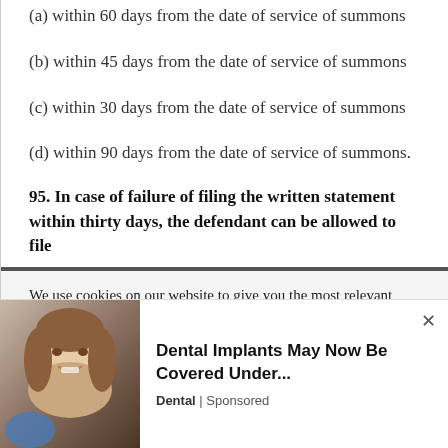(a) within 60 days from the date of service of summons
(b) within 45 days from the date of service of summons
(c) within 30 days from the date of service of summons
(d) within 90 days from the date of service of summons.
95. In case of failure of filing the written statement within thirty days, the defendant can be allowed to file
We use cookies on our website to give you the most relevant experience by remembering your preferences and repeat visits. By clicking “Accept”, you consent to the use of ALL the cookies.
Do not sell my personal information.
[Figure (photo): Advertisement photo of a young woman smiling, alongside dental implant ad text: 'Dental Implants May Now Be Covered Under...' with label 'Dental | Sponsored']